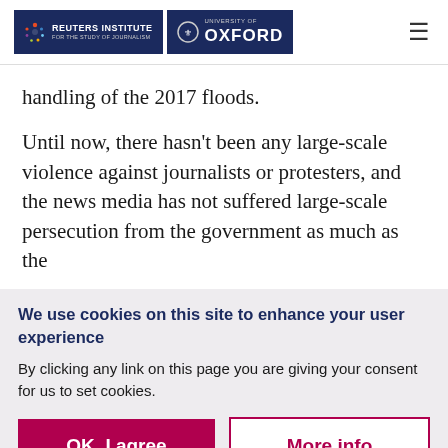Reuters Institute for the Study of Journalism | University of Oxford
handling of the 2017 floods.
Until now, there hasn't been any large-scale violence against journalists or protesters, and the news media has not suffered large-scale persecution from the government as much as the
We use cookies on this site to enhance your user experience
By clicking any link on this page you are giving your consent for us to set cookies.
OK, I agree | More info